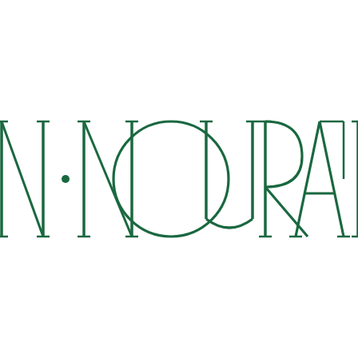[Figure (logo): N·NOURANI brand logo in dark green, elegant serif/geometric typeface with thin strokes. The letter O in NOURANI is a perfect circle, the A has a distinctive geometric triangle shape. Text reads 'N·NOURANI' where the N is partially cropped on the left edge.]